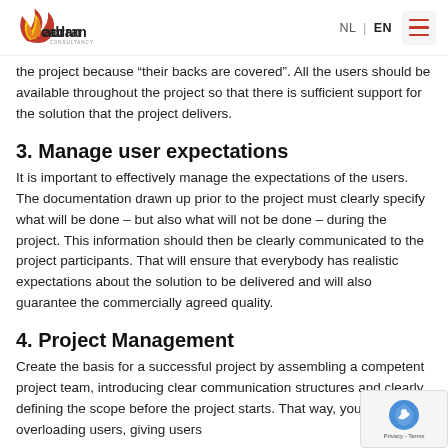Cadran Consultancy | NL | EN
the project because “their backs are covered”. All the users should be available throughout the project so that there is sufficient support for the solution that the project delivers.
3. Manage user expectations
It is important to effectively manage the expectations of the users. The documentation drawn up prior to the project must clearly specify what will be done – but also what will not be done – during the project. This information should then be clearly communicated to the project participants. That will ensure that everybody has realistic expectations about the solution to be delivered and will also guarantee the commercially agreed quality.
4. Project Management
Create the basis for a successful project by assembling a competent project team, introducing clear communication structures and clearly defining the scope before the project starts. That way, you avoid overloading users, giving users contradictory expectations and setting unrealistic standards. A good